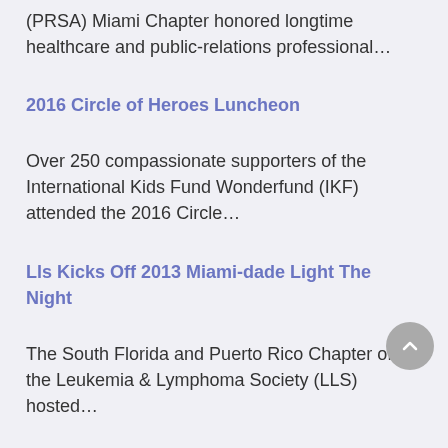(PRSA) Miami Chapter honored longtime healthcare and public-relations professional…
2016 Circle of Heroes Luncheon
Over 250 compassionate supporters of the International Kids Fund Wonderfund (IKF) attended the 2016 Circle…
Lls Kicks Off 2013 Miami-dade Light The Night
The South Florida and Puerto Rico Chapter of the Leukemia & Lymphoma Society (LLS) hosted…
Preservation Luncheon
Irene Pariserband in Stella McCartney,